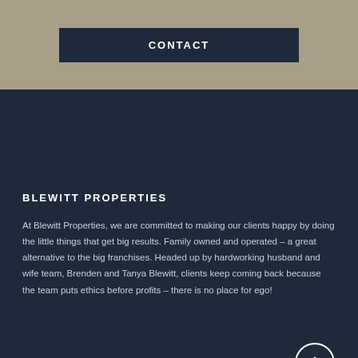CONTACT
BLEWITT PROPERTIES
At Blewitt Properties, we are committed to making our clients happy by doing the little things that get big results. Family owned and operated – a great alternative to the big franchises. Headed up by hardworking husband and wife team, Brenden and Tanya Blewitt, clients keep coming back because the team puts ethics before profits – there is no place for ego!
USEFUL LINKS